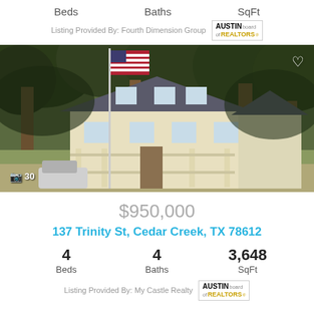Beds    Baths    SqFt
Listing Provided By: Fourth Dimension Group
[Figure (photo): Two-story house with covered front porch, gray roof, surrounded by large oak trees with an American flag on a flagpole in the foreground. Camera count badge showing 30.]
$950,000
137 Trinity St, Cedar Creek, TX 78612
4 Beds  4 Baths  3,648 SqFt
Listing Provided By: My Castle Realty